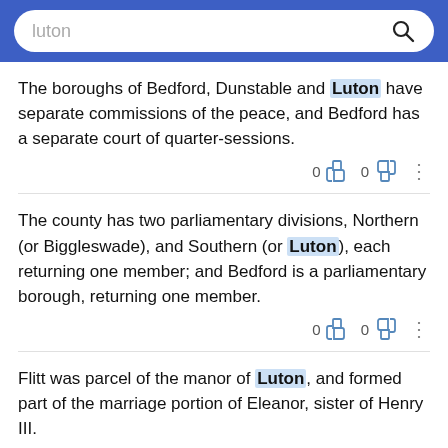luton [search bar]
The boroughs of Bedford, Dunstable and Luton have separate commissions of the peace, and Bedford has a separate court of quarter-sessions.
The county has two parliamentary divisions, Northern (or Biggleswade), and Southern (or Luton), each returning one member; and Bedford is a parliamentary borough, returning one member.
Flitt was parcel of the manor of Luton, and formed part of the marriage portion of Eleanor, sister of Henry III.